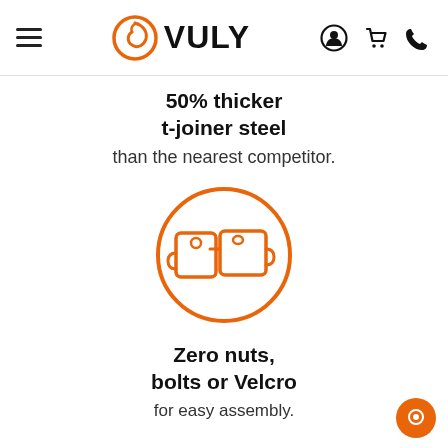Vuly — website header with hamburger menu, Vuly logo, user/cart/phone icons
50% thicker t-joiner steel than the nearest competitor.
[Figure (illustration): Orange circle icon containing two interlocking bracket/clip shapes representing tool-free assembly connectors.]
Zero nuts, bolts or Velcro for easy assembly.
[Figure (illustration): Two trampoline springs side by side — one gray (standard) and one orange (Vuly), both shown as coiled springs with hooks.]